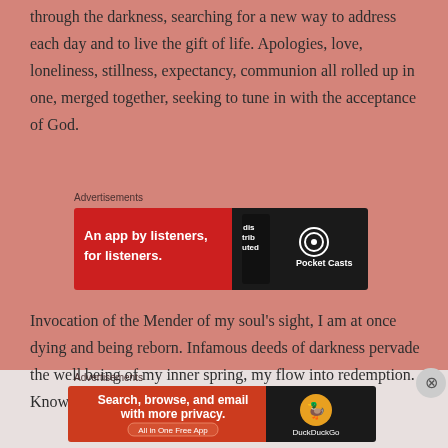through the darkness, searching for a new way to address each day and to live the gift of life. Apologies, love, loneliness, stillness, expectancy, communion all rolled up in one, merged together, seeking to tune in with the acceptance of God.
[Figure (screenshot): Pocket Casts advertisement: 'An app by listeners, for listeners.' with phone graphic and dark right panel showing Pocket Casts logo]
Invocation of the Mender of my soul's sight, I am at once dying and being reborn. Infamous deeds of darkness pervade the well being of my inner spring, my flow into redemption. Knowing now how I can never
[Figure (screenshot): DuckDuckGo advertisement: 'Search, browse, and email with more privacy. All in One Free App' with DuckDuckGo logo on dark right panel]